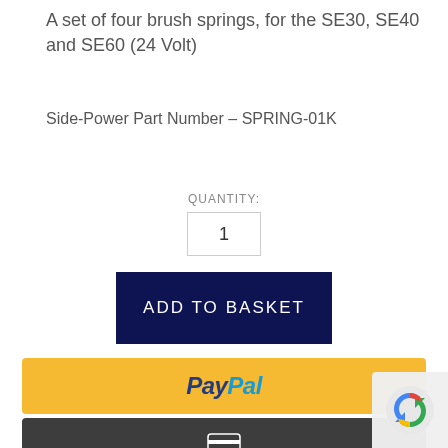A set of four brush springs, for the SE30, SE40 and SE60 (24 Volt)
Side-Power Part Number – SPRING-01K
QUANTITY:
1
ADD TO BASKET
[Figure (other): PayPal payment button with yellow background and PayPal logo]
[Figure (other): Credit/debit card payment button with dark background and card icon]
Tags: Brush Springs, Side-Power Brush Springs
SOCIAL